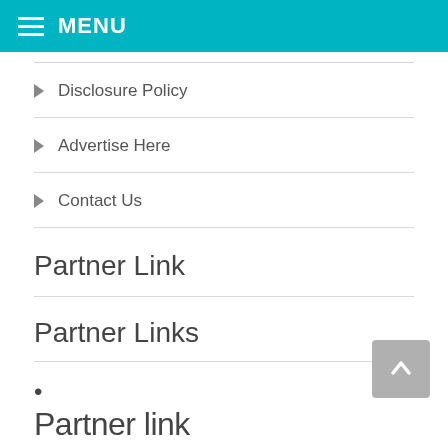MENU
Disclosure Policy
Advertise Here
Contact Us
Partner Link
Partner Links
•
Partner link... (partially visible)